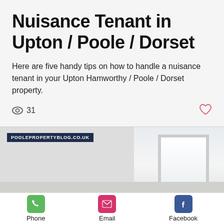Nuisance Tenant in Upton / Poole / Dorset
Here are five handy tips on how to handle a nuisance tenant in your Upton Hamworthy / Poole / Dorset property.
31
[Figure (screenshot): Blog post card with POOLEPROPERTYBLOG.CO.UK badge, interior room background with window, title '5 Tips to move home during COVID' and excerpt text.]
5 Tips to move home during COVID
If you're preparing to move house just now then you have to be even more prepared to ensure that you and your family are safe from germs.
Phone  Email  Facebook